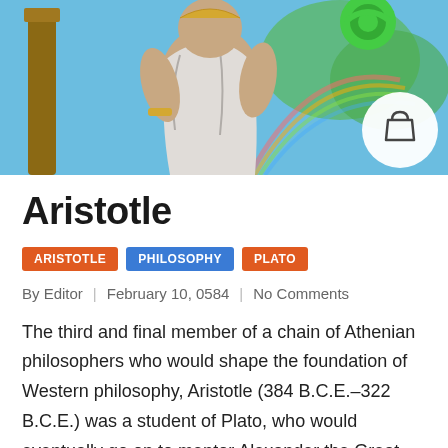[Figure (illustration): Colorful illustrated banner of Aristotle as a muscular figure in classical robes holding a book, with green headphones and a shopping bag icon visible in the upper right]
Aristotle
ARISTOTLE | PHILOSOPHY | PLATO
By Editor | February 10, 0584 | No Comments
The third and final member of a chain of Athenian philosophers who would shape the foundation of Western philosophy, Aristotle (384 B.C.E.–322 B.C.E.) was a student of Plato, who would eventually go on to mentor Alexander the Great. Nicknamed “The Reader” by Plato, Aristotle’s writings…